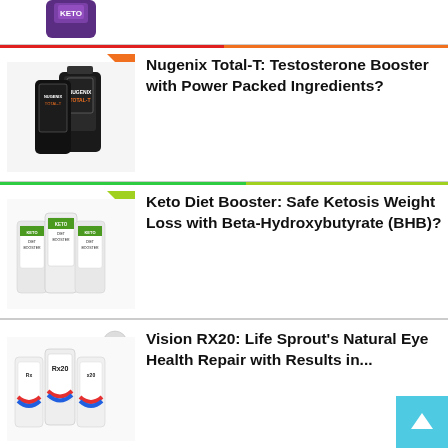[Figure (photo): Partial view of a purple supplement bottle at top of page]
[Figure (photo): Nugenix Total-T supplement bottles, black packaging]
Nugenix Total-T: Testosterone Booster with Power Packed Ingredients?
[Figure (photo): Keto Diet Booster supplement bottles with white and green packaging]
Keto Diet Booster: Safe Ketosis Weight Loss with Beta-Hydroxybutyrate (BHB)?
[Figure (photo): Vision RX20 supplement bottles with colorful label]
Vision RX20: Life Sprout’s Natural Eye Health Repair with Results in...
[Figure (photo): MelaLuna purple supplement bottle]
MelaLuna: Advanced Sleep Aid With a Natural Relaxation Formula?